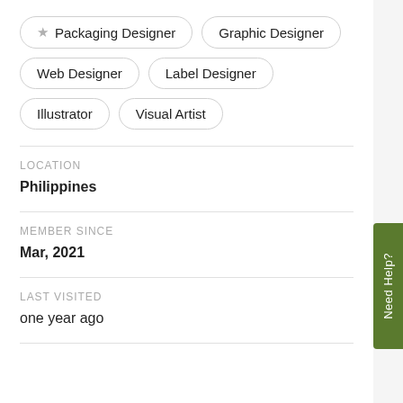★ Packaging Designer
Graphic Designer
Web Designer
Label Designer
Illustrator
Visual Artist
LOCATION
Philippines
MEMBER SINCE
Mar, 2021
LAST VISITED
one year ago